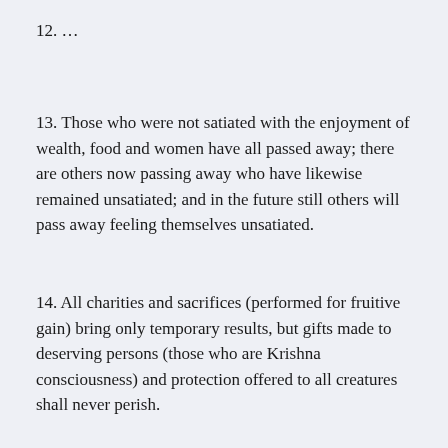12. …
13. Those who were not satiated with the enjoyment of wealth, food and women have all passed away; there are others now passing away who have likewise remained unsatiated; and in the future still others will pass away feeling themselves unsatiated.
14. All charities and sacrifices (performed for fruitive gain) bring only temporary results, but gifts made to deserving persons (those who are Krishna consciousness) and protection offered to all creatures shall never perish.